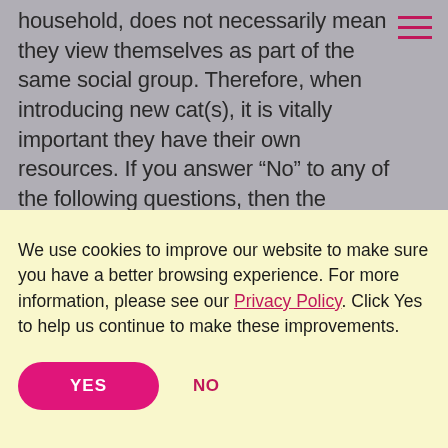household, does not necessarily mean they view themselves as part of the same social group. Therefore, when introducing new cat(s), it is vitally important they have their own resources. If you answer “No” to any of the following questions, then the likelihood of your cat(s) coping with a new cat(s)
We use cookies to improve our website to make sure you have a better browsing experience. For more information, please see our Privacy Policy. Click Yes to help us continue to make these improvements.